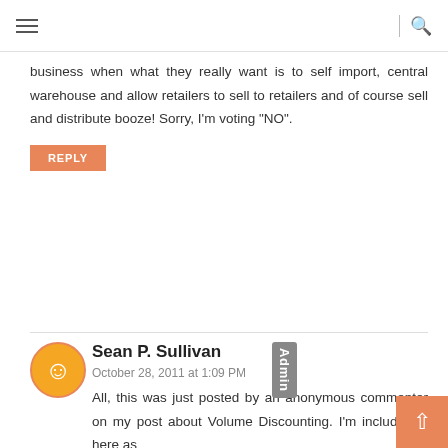Navigation bar with hamburger menu and search icon
business  when what they really want is to self import, central warehouse and allow retailers to sell to retailers and of course sell and distribute booze! Sorry, I'm voting "NO".
REPLY
Sean P. Sullivan
Admin
October 28, 2011 at 1:09 PM
All, this was just posted by an anonymous commenter on my post about Volume Discounting. I'm including it here as